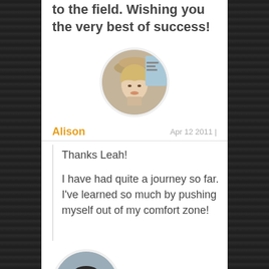the very best of success!
[Figure (photo): Circular avatar photo of Alison, a woman wearing a beige cap, blonde hair, smiling]
Alison   Apr 12 2011 |
Thanks Leah!

I have had quite a journey so far. I've learned so much by pushing myself out of my comfort zone!
[Figure (photo): Circular avatar photo of Benny, a young Asian man smiling, short hair with earring]
Benny   Apr 12 2011 |